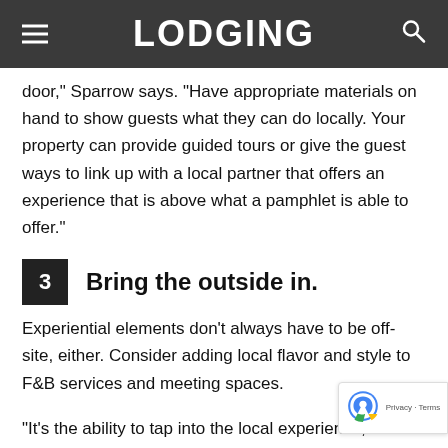LODGING
door,” Sparrow says. “Have appropriate materials on hand to show guests what they can do locally. Your property can provide guided tours or give the guest ways to link up with a local partner that offers an experience that is above what a pamphlet is able to offer.”
3  Bring the outside in.
Experiential elements don’t always have to be off-site, either. Consider adding local flavor and style to F&B services and meeting spaces.
“It’s the ability to tap into the local experience, in addi… your standard food and beverage and meeting packag…